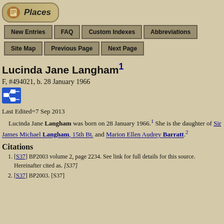[Figure (logo): Places logo with parchment scroll icon and rounded rectangle border]
New Entries | FAQ | Custom Indexes | Abbreviations | Site Map | Previous Page | Next Page
Lucinda Jane Langham¹
F, #494021, b. 28 January 1966
[Figure (other): Pedigree chart icon (blue square with family tree diagram)]
Last Edited=7 Sep 2013
Lucinda Jane Langham was born on 28 January 1966.¹ She is the daughter of Sir James Michael Langham, 15th Bt. and Marion Ellen Audrey Barratt.²
Citations
[S37] BP2003 volume 2, page 2234. See link for full details for this source. Hereinafter cited as. [S37]
[S37] BP2003. [S37]